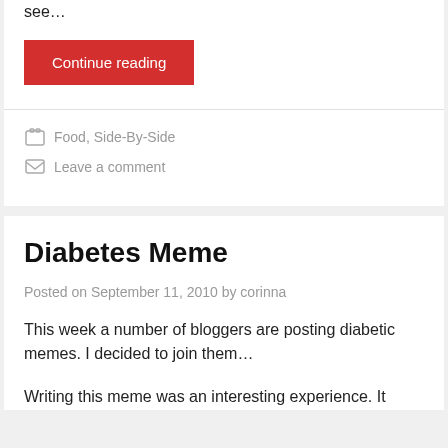see…
Continue reading
Food, Side-By-Side
Leave a comment
Diabetes Meme
Posted on September 11, 2010 by corinna
This week a number of bloggers are posting diabetic memes. I decided to join them…
Writing this meme was an interesting experience. It